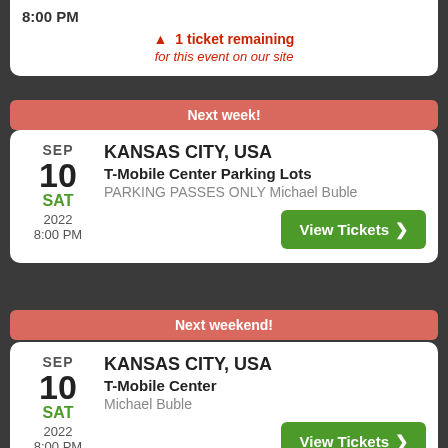8:00 PM
⚠ 1 ticket remaining for this event on our site
Next week!
SEP 10 SAT 2022 8:00 PM
KANSAS CITY, USA T-Mobile Center Parking Lots PARKING PASSES ONLY Michael Buble
View Tickets ›
Next weekend!
SEP 10 SAT 2022 8:00 PM
KANSAS CITY, USA T-Mobile Center Michael Buble
View Tickets ›